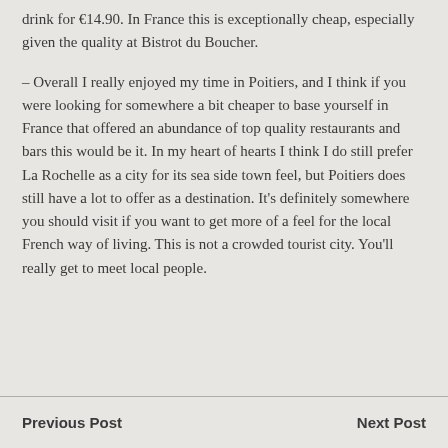drink for €14.90. In France this is exceptionally cheap, especially given the quality at Bistrot du Boucher.
– Overall I really enjoyed my time in Poitiers, and I think if you were looking for somewhere a bit cheaper to base yourself in France that offered an abundance of top quality restaurants and bars this would be it. In my heart of hearts I think I do still prefer La Rochelle as a city for its sea side town feel, but Poitiers does still have a lot to offer as a destination. It's definitely somewhere you should visit if you want to get more of a feel for the local French way of living. This is not a crowded tourist city. You'll really get to meet local people.
Previous Post   Next Post